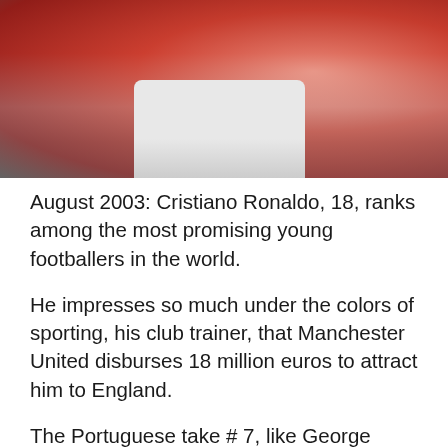[Figure (photo): Blurred photo of a footballer in a red Manchester United jersey and white shorts, crowd visible in background.]
August 2003: Cristiano Ronaldo, 18, ranks among the most promising young footballers in the world.
He impresses so much under the colors of sporting, his club trainer, that Manchester United disburses 18 million euros to attract him to England.
The Portuguese take # 7, like George Best, Eric Cantona, and David Beckham before him. The ascent will be blazing.